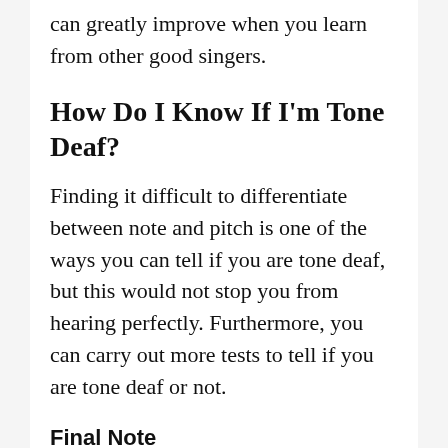you have a good voice to start with, but you can greatly improve when you learn from other good singers.
How Do I Know If I'm Tone Deaf?
Finding it difficult to differentiate between note and pitch is one of the ways you can tell if you are tone deaf, but this would not stop you from hearing perfectly. Furthermore, you can carry out more tests to tell if you are tone deaf or not.
Final Note
You should be encouraged by everything we have said in this post if singing doesn't come